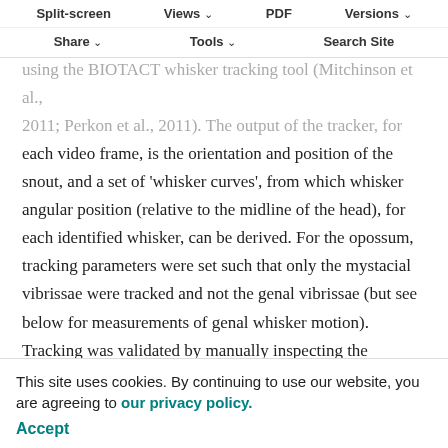nearby obstructions other than the floor. The animal's snout and whiskers were tracked in each clip episode, using the BIOTACT whisker tracking tool (Mitchinson et al., 2011; Perkon et al., 2011). The output of the tracker, for each video frame, is the orientation and position of the snout, and a set of 'whisker curves', from which whisker angular position (relative to the midline of the head), for each identified whisker, can be derived. For the opossum, tracking parameters were set such that only the mystacial vibrissae were tracked and not the genal vibrissae (but see below for measurements of genal whisker motion). Tracking was validated by manually inspecting the tracking overlaid on to the video frames.
Our analyses focus on the movement of the entire whisker field on each side of the snout using a measure of mean angular position calculated as the unsmoothed mean of all
Split-screen | Views | PDF | Versions | Share | Tools | Search Site
This site uses cookies. By continuing to use our website, you are agreeing to our privacy policy. Accept